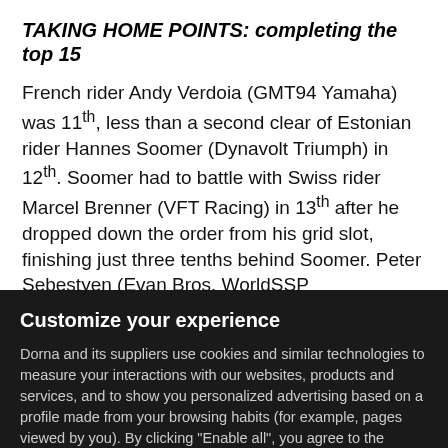TAKING HOME POINTS: completing the top 15
French rider Andy Verdoia (GMT94 Yamaha) was 11th, less than a second clear of Estonian rider Hannes Soomer (Dynavolt Triumph) in 12th. Soomer had to battle with Swiss rider Marcel Brenner (VFT Racing) in 13th after he dropped down the order from his grid slot, finishing just three tenths behind Soomer. Peter Sebestyen (Evan Bros. WorldSSP
Customize your experience
Dorna and its suppliers use cookies and similar technologies to measure your interactions with our websites, products and services, and to show you personalized advertising based on a profile made from your browsing habits (for example, pages viewed by you). By clicking "Enable all", you agree to the storing of our cookies on your device for those purposes. By clicking "Customize" you can choose which categories of cookies you prefer to enable or refuse, and you can also choose to refuse them all. You can always check our Cookies